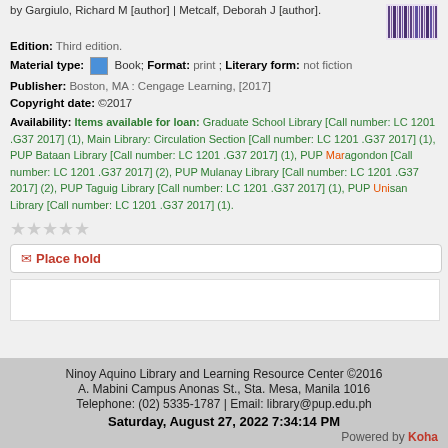by Gargiulo, Richard M [author] | Metcalf, Deborah J [author].
Edition: Third edition.
Material type: Book; Format: print ; Literary form: not fiction
Publisher: Boston, MA : Cengage Learning, [2017]
Copyright date: ©2017
Availability: Items available for loan: Graduate School Library [Call number: LC 1201 .G37 2017] (1), Main Library: Circulation Section [Call number: LC 1201 .G37 2017] (1), PUP Bataan Library [Call number: LC 1201 .G37 2017] (1), PUP Maragondon [Call number: LC 1201 .G37 2017] (2), PUP Mulanay Library [Call number: LC 1201 .G37 2017] (2), PUP Taguig Library [Call number: LC 1201 .G37 2017] (1), PUP Unisan Library [Call number: LC 1201 .G37 2017] (1).
Place hold
Ninoy Aquino Library and Learning Resource Center ©2016
A. Mabini Campus Anonas St., Sta. Mesa, Manila 1016
Telephone: (02) 5335-1787 | Email: library@pup.edu.ph
Saturday, August 27, 2022 7:34:14 PM
Powered by Koha